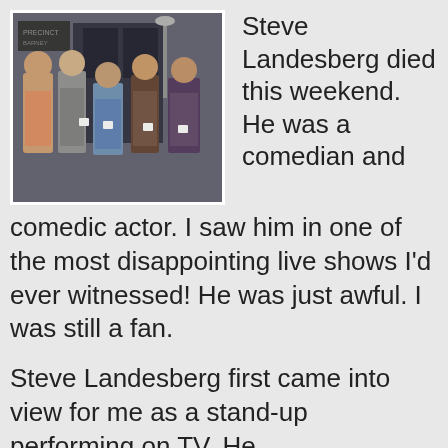[Figure (photo): Group photo of five men in suits holding white mugs, appearing to be from a TV show, standing in front of a building exterior.]
Steve Landesberg died this weekend. He was a comedian and comedic actor. I saw him in one of the most disappointing live shows I'd ever witnessed! He was just awful. I was still a fan.
Steve Landesberg first came into view for me as a stand-up performing on TV. He